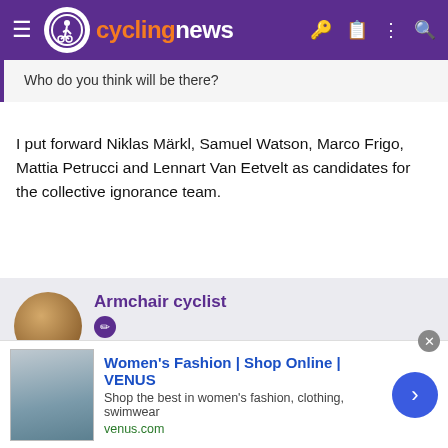cyclingnews
Who do you think will be there?
I put forward Niklas Märkl, Samuel Watson, Marco Frigo, Mattia Petrucci and Lennart Van Eetvelt as candidates for the collective ignorance team.
Armchair cyclist
Mar 22, 2010  9,058  2,526  23,180
[Figure (screenshot): Advertisement: Women's Fashion | Shop Online | VENUS — venus.com]
Women's Fashion | Shop Online | VENUS
Shop the best in women's fashion, clothing, swimwear
venus.com